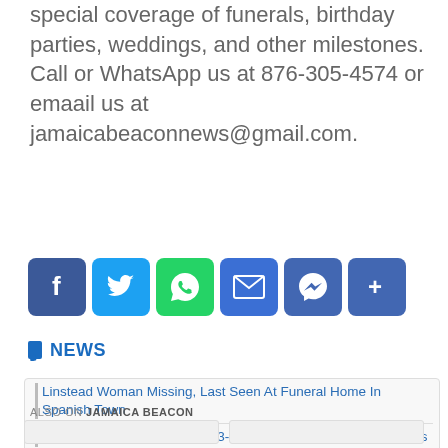special coverage of funerals, birthday parties, weddings, and other milestones. Call or WhatsApp us at 876-305-4574 or emaail us at jamaicabeaconnews@gmail.com.
[Figure (infographic): Social sharing buttons: Facebook, Twitter, WhatsApp, Email, Messenger, Share]
NEWS
Linstead Woman Missing, Last Seen At Funeral Home In Spanish Town
Dinthill Thrash William Knibb 3-0; All Goals Scored By Gary Mills
ALSO ON JAMAICA BEACON